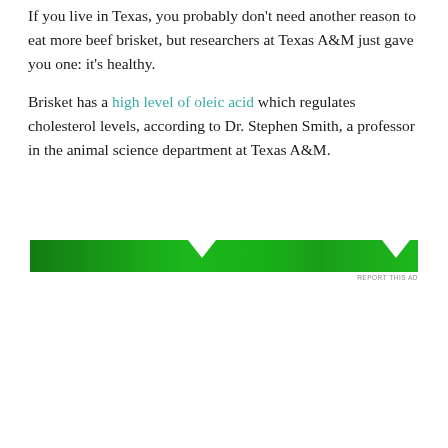If you live in Texas, you probably don't need another reason to eat more beef brisket, but researchers at Texas A&M just gave you one: it's healthy.
Brisket has a high level of oleic acid which regulates cholesterol levels, according to Dr. Stephen Smith, a professor in the animal science department at Texas A&M.
[Figure (other): Green advertisement banner with two notch cutouts at the top, partially visible branded content]
REPORT THIS AD
Privacy & Cookies: This site uses cookies. By continuing to use this website, you agree to their use.
To find out more, including how to control cookies, see here: Cookie Policy

Close and accept